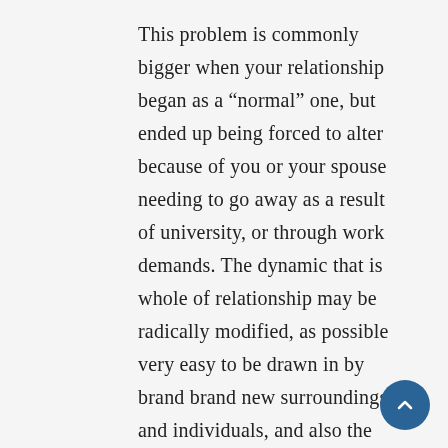This problem is commonly bigger when your relationship began as a “normal” one, but ended up being forced to alter because of you or your spouse needing to go away as a result of university, or through work demands. The dynamic that is whole of relationship may be radically modified, as possible very easy to be drawn in by brand brand new surroundings and individuals, and also the “old” relationship can